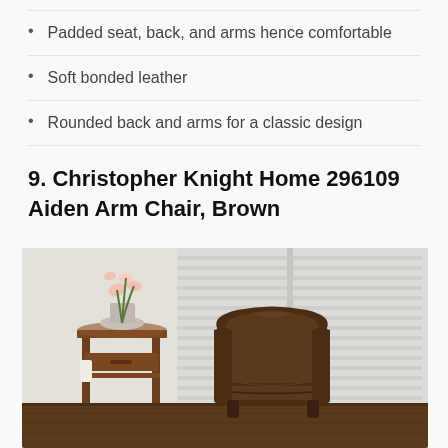Padded seat, back, and arms hence comfortable
Soft bonded leather
Rounded back and arms for a classic design
9. Christopher Knight Home 296109 Aiden Arm Chair, Brown
[Figure (photo): Brown leather arm chair (Aiden Arm Chair) displayed in a room setting with a wooden side table with a white orchid plant on top, and white shuttered windows in the background. Dark hardwood floor visible.]